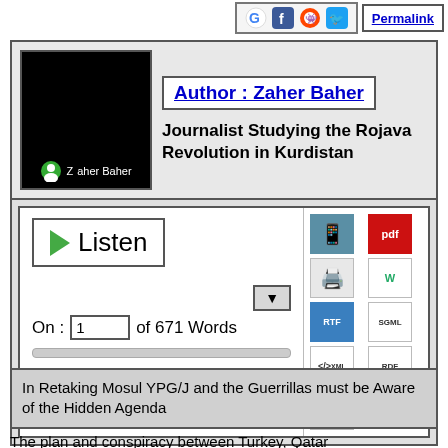[Figure (infographic): Social sharing icons (Google, Facebook, Reddit, Twitter) and Permalink button]
[Figure (photo): Author photo showing Zaher Baher avatar with name label on dark background]
Author : Zaher Baher
Journalist Studying the Rojava Revolution in Kurdistan
[Figure (screenshot): Audio player widget with Listen button, page 1 of 671 Words, dropdown, progress bar, and format download icons (phone, PDF, print, doc, Word, C, RTF, SGML, XML, RDF, BRF)]
In Retaking Mosul YPG/J and the Guerrillas must be Aware of the Hidden Agenda
The plan and conspiracy between Turkey, Qatar